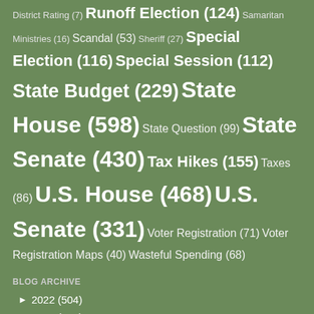District Rating (7) Runoff Election (124) Samaritan Ministries (16) Scandal (53) Sheriff (27) Special Election (116) Special Session (112) State Budget (229) State House (598) State Question (99) State Senate (430) Tax Hikes (155) Taxes (86) U.S. House (468) U.S. Senate (331) Voter Registration (71) Voter Registration Maps (40) Wasteful Spending (68)
BLOG ARCHIVE
► 2022 (504)
► 2021 (302)
▼ 2020 (807)
► December (29)
▼ November (44)
Gov. Stitt appoints Tim Webster as DA for Atoka, B...
Music Monday: O Come, All Ye Faithful
Cong. Lucas: As COVID-19 winter approaches, Oklaho...
Small: Plenty of reasons to question state's audit...